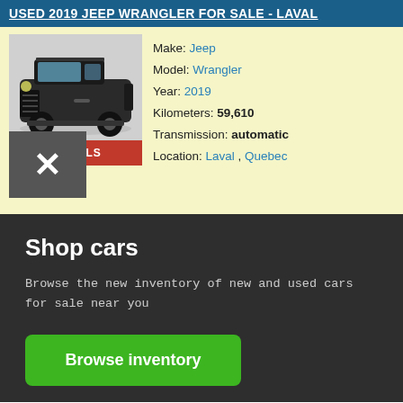USED 2019 JEEP WRANGLER FOR SALE - LAVAL
[Figure (photo): Photo of a black 2019 Jeep Wrangler SUV, front three-quarter view on a gray background]
Make: Jeep
Model: Wrangler
Year: 2019
Kilometers: 59,610
Transmission: automatic
Location: Laval , Quebec
DETAILS
Shop cars
Browse the new inventory of new and used cars for sale near you
Browse inventory